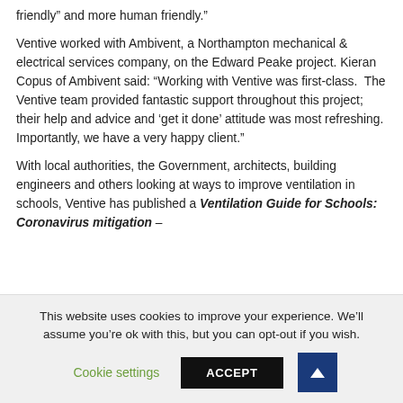friendly” and more human friendly.”
Ventive worked with Ambivent, a Northampton mechanical & electrical services company, on the Edward Peake project. Kieran Copus of Ambivent said: “Working with Ventive was first-class.  The Ventive team provided fantastic support throughout this project; their help and advice and ‘get it done’ attitude was most refreshing. Importantly, we have a very happy client.”
With local authorities, the Government, architects, building engineers and others looking at ways to improve ventilation in schools, Ventive has published a Ventilation Guide for Schools: Coronavirus mitigation –
This website uses cookies to improve your experience. We’ll assume you’re ok with this, but you can opt-out if you wish.